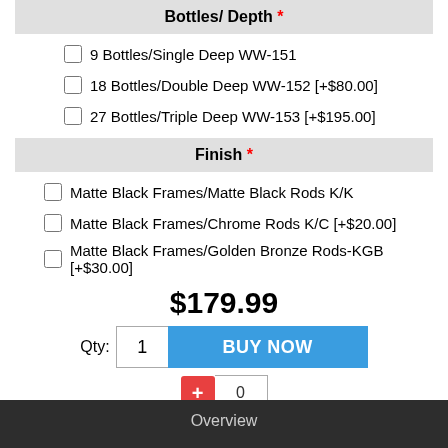Bottles/ Depth *
9 Bottles/Single Deep WW-151
18 Bottles/Double Deep WW-152 [+$80.00]
27 Bottles/Triple Deep WW-153 [+$195.00]
Finish *
Matte Black Frames/Matte Black Rods K/K
Matte Black Frames/Chrome Rods K/C [+$20.00]
Matte Black Frames/Golden Bronze Rods-KGB [+$30.00]
$179.99
Qty: 1  BUY NOW
+ 0
Overview